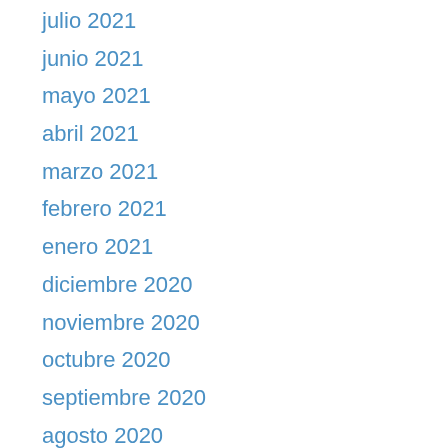julio 2021
junio 2021
mayo 2021
abril 2021
marzo 2021
febrero 2021
enero 2021
diciembre 2020
noviembre 2020
octubre 2020
septiembre 2020
agosto 2020
julio 2020
junio 2020
abril 2020